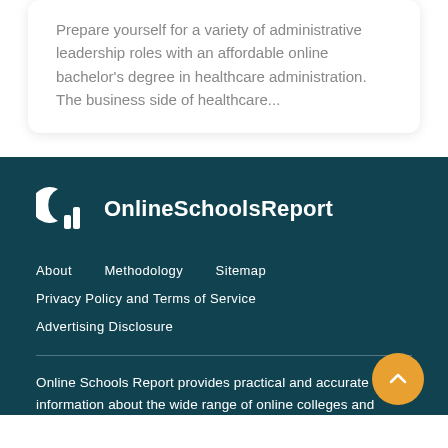Prepare yourself for a variety of administrative leadership roles with an affordable online bachelor's degree in healthcare administration. The business side of healthcare...
[Figure (logo): OnlineSchoolsReport logo: circular icon with bar chart and letter C, followed by text 'OnlineSchoolsReport']
About
Methodology
Sitemap
Privacy Policy and Terms of Service
Advertising Disclosure
Online Schools Report provides practical and accurate information about the wide range of online colleges and